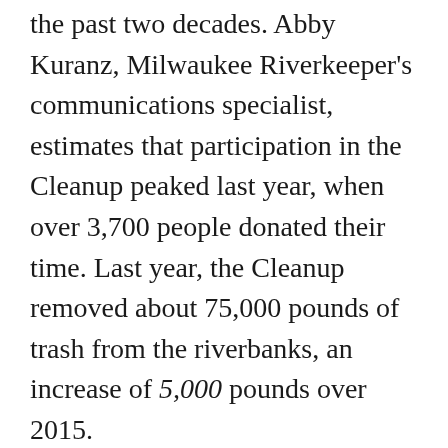the past two decades. Abby Kuranz, Milwaukee Riverkeeper's communications specialist, estimates that participation in the Cleanup peaked last year, when over 3,700 people donated their time. Last year, the Cleanup removed about 75,000 pounds of trash from the riverbanks, an increase of 5,000 pounds over 2015.
Riverkeeper's efforts in keeping the waterways clean have become evident in the nature of the trash that the Cleanup removes. “Twenty years ago we were pulling really large items like couches, refrigerators, or entire cars out of the rivers,” Kuranz said. “And while we still see some larger items, many volunteers will spend the day picking out...